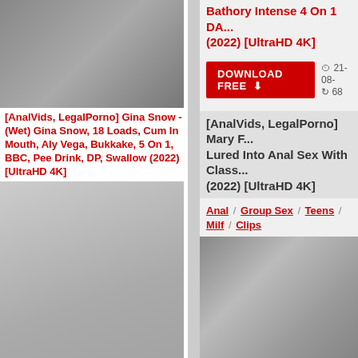[Figure (photo): Group scene thumbnail image at top left]
[AnalVids, LegalPorno] Gina Snow - (Wet) Gina Snow, 18 Loads, Cum In Mouth, Aly Vega, Bukkake, 5 On 1, BBC, Pee Drink, DP, Swallow (2022) [UltraHD 4K]
[Figure (photo): Blonde woman posing photo]
[AnalVids, LegalPorno] Emily Bellexx - DAP Destination,
Bathory Intense 4 On 1 DA... (2022) [UltraHD 4K]
DOWNLOAD FREE  21-08-  68
[AnalVids, LegalPorno] Mary F... Lured Into Anal Sex With Class... (2022) [UltraHD 4K]
Anal / Group Sex / Teens / Milf / Clips
[Figure (photo): Dark haired woman scene thumbnail]